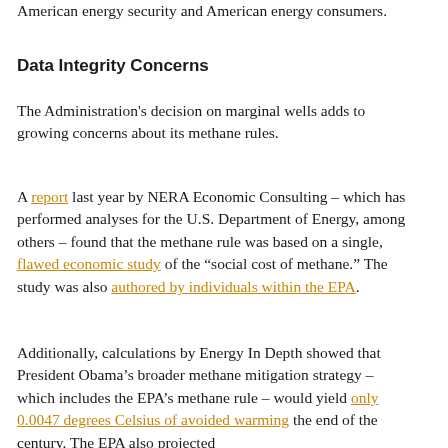American energy security and American energy consumers.
Data Integrity Concerns
The Administration's decision on marginal wells adds to growing concerns about its methane rules.
A report last year by NERA Economic Consulting – which has performed analyses for the U.S. Department of Energy, among others – found that the methane rule was based on a single, flawed economic study of the "social cost of methane." The study was also authored by individuals within the EPA.
Additionally, calculations by Energy In Depth showed that President Obama's broader methane mitigation strategy – which includes the EPA's methane rule – would yield only 0.0047 degrees Celsius of avoided warming the end of the century. The EPA also projected